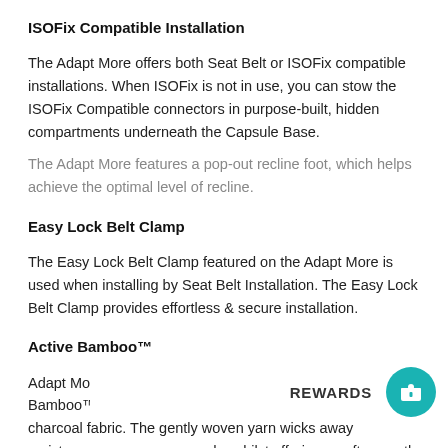ISOFix Compatible Installation
The Adapt More offers both Seat Belt or ISOFix compatible installations. When ISOFix is not in use, you can stow the ISOFix Compatible connectors in purpose-built, hidden compartments underneath the Capsule Base.
The Adapt More features a pop-out recline foot, which helps achieve the optimal level of recline.
Easy Lock Belt Clamp
The Easy Lock Belt Clamp featured on the Adapt More is used when installing by Seat Belt Installation. The Easy Lock Belt Clamp provides effortless & secure installation.
Active Bamboo™
Adapt More features our Active Bamboo™ covers. Active Bamboo™ is a high performance, premium quality bamboo charcoal fabric. The gently woven yarn wicks away moisture, dry whilst offering a soft, smooth surface c...in complete comfort.